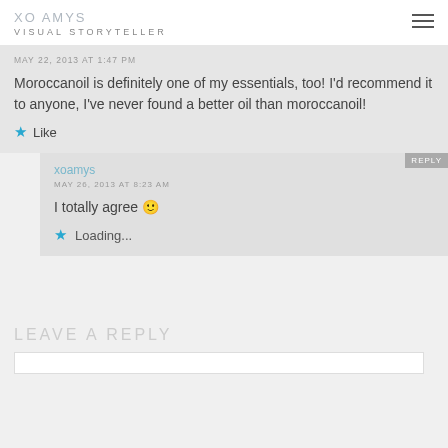XO AMYS
VISUAL STORYTELLER
MAY 22, 2013 AT 1:47 PM
Moroccanoil is definitely one of my essentials, too! I'd recommend it to anyone, I've never found a better oil than moroccanoil!
Like
xoamys
MAY 26, 2013 AT 8:23 AM
I totally agree 🙂
Loading...
LEAVE A REPLY